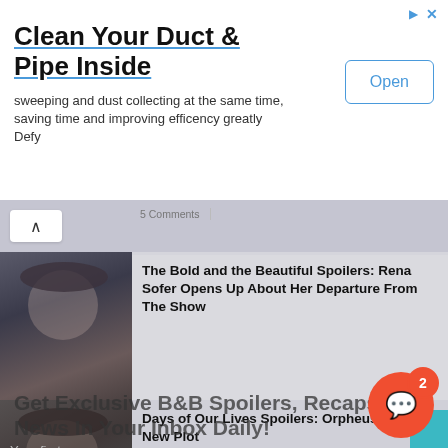[Figure (screenshot): Advertisement banner: 'Clean Your Duct & Pipe Inside' with Open button]
Clean Your Duct & Pipe Inside
sweeping and dust collecting at the same time, saving time and improving efficency greatly Defy
[Figure (screenshot): Website content area showing soap opera news articles with thumbnail images and overlaid email signup prompt]
The Bold and the Beautiful Spoilers: Rena Sofer Opens Up About Her Departure From The Show
Get Exclusive B&B Spoilers, Recaps & News In Your Inbox Daily!
Days of Our Lives Spoilers: Orpheus Has A New Plot
2 Comments
The Bold and the Beautiful Spoilers: It's a Custody War